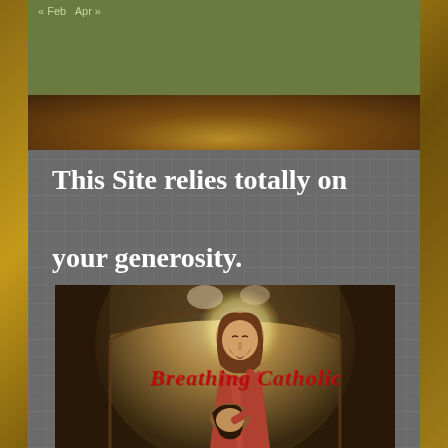« Feb  Apr »
This Site relies totally on your generosity.
[Figure (illustration): Religious painting showing Jesus (with halo and brown hair) leaning over a person, set within an arched church interior with cherubs in background. Red cursive text overlay reads 'Breathing Catholic'.]